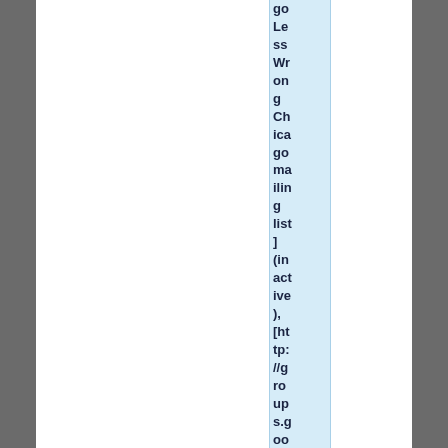go Less Wrong Chicago mailing list] (inactive), [http://groups.goo